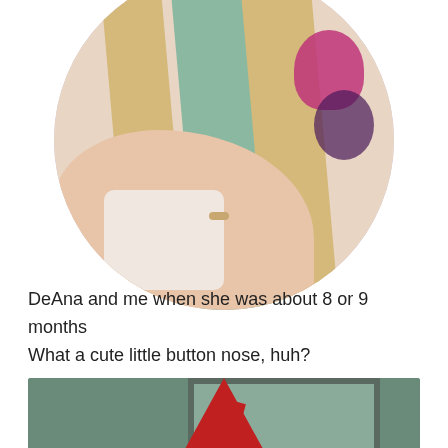[Figure (photo): Circular cropped vintage photograph showing a woman holding a baby approximately 8-9 months old. The woman wears a colorful striped dress with floral pattern in green, yellow, and purple/magenta. A bracelet is visible on her wrist. The baby is in a white outfit.]
DeAna and me when she was about 8 or 9 months
What a cute little button nose, huh?
[Figure (photo): Vintage photograph of Santa Claus seated with two children on his lap. Santa wears a red hat with white trim. The background shows what appears to be a window with blinds. Two children with dark hair are visible in front of Santa.]